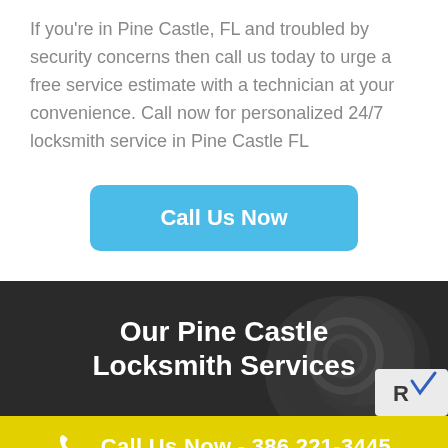If you're in Pine Castle, FL and troubled by security concerns then call us today to urge a free service estimate with a technician at your convenience. Call now for personalized 24/7 locksmith service in Pine Castle FL
Call Us Now
Our Pine Castle Locksmith Services
Call Us Now - 386 221-3445